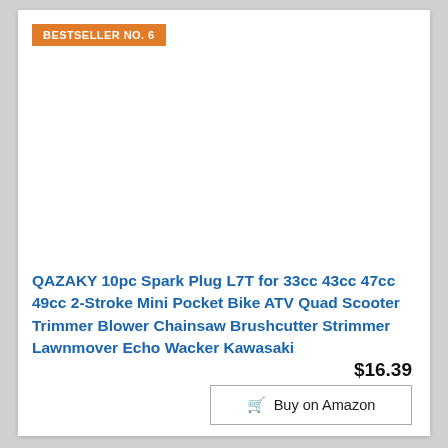BESTSELLER NO. 6
[Figure (photo): 10 spark plugs (QAZAKY L7T) arranged in a diagonal grid pattern, 3 rows of 3-4 plugs each, on white background]
QAZAKY 10pc Spark Plug L7T for 33cc 43cc 47cc 49cc 2-Stroke Mini Pocket Bike ATV Quad Scooter Trimmer Blower Chainsaw Brushcutter Strimmer Lawnmover Echo Wacker Kawasaki
$16.39
Buy on Amazon